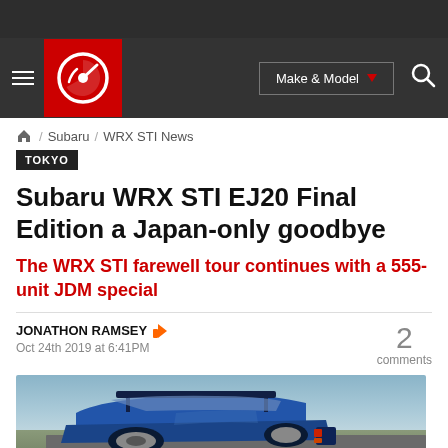Autoblog navigation bar with logo, Make & Model dropdown, and search
🏠 / Subaru / WRX STI News
TOKYO
Subaru WRX STI EJ20 Final Edition a Japan-only goodbye
The WRX STI farewell tour continues with a 555-unit JDM special
JONATHON RAMSEY
Oct 24th 2019 at 6:41PM
2 comments
[Figure (photo): Blue Subaru WRX STI viewed from rear three-quarter angle showing large rear spoiler, on a road with blurred background]